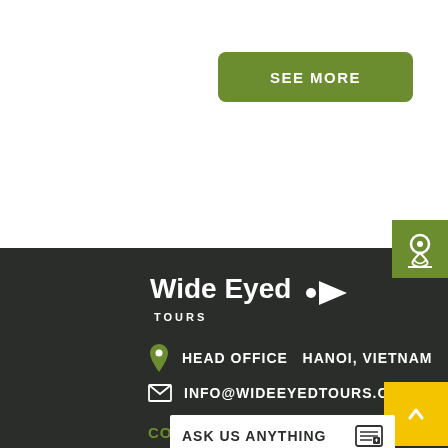[Figure (other): Green rounded button labeled SEE MORE]
[Figure (other): Green map/location icon button on right edge]
[Figure (logo): Wide Eyed Tours logo with arrow icon on dark background]
HEAD OFFICE  HANOI, VIETNAM
INFO@WIDEEYEDTOURS.COM
CONNECT W
[Figure (other): Yellow scroll-to-top button with upward arrow]
ASK US ANYTHING